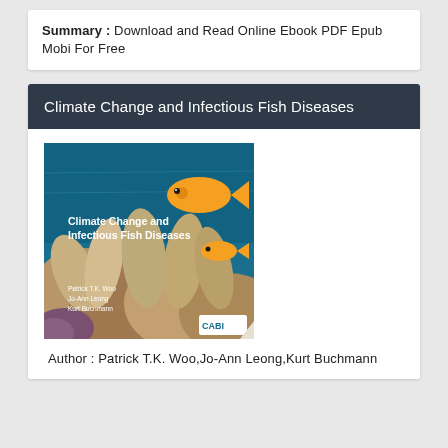Summary : Download and Read Online Ebook PDF Epub Mobi For Free
Climate Change and Infectious Fish Diseases
[Figure (photo): Book cover of 'Climate Change and Infectious Fish Diseases' showing coral reef underwater scene with orange fish, published by CABI. Authors listed: Patrick T.K. Woo, Jo-Ann Leong, Kurt Buchmann.]
Author : Patrick T.K. Woo,Jo-Ann Leong,Kurt Buchmann